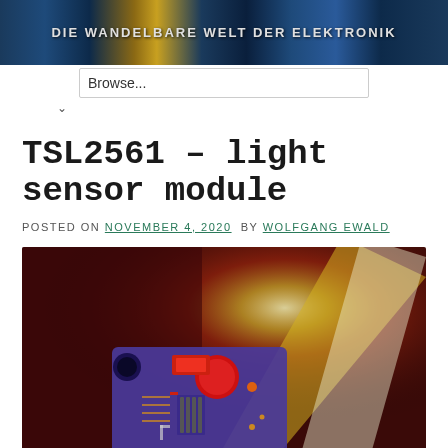Die wandelbare Welt der Elektronik
TSL2561 – light sensor module
POSTED ON NOVEMBER 4, 2020 BY WOLFGANG EWALD
[Figure (photo): TSL2561 light sensor module PCB photographed with dramatic light beam effect on dark red background]